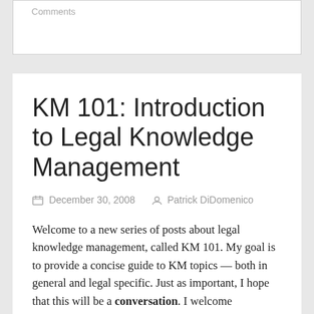Comments
KM 101: Introduction to Legal Knowledge Management
December 30, 2008   Patrick DiDomenico
Welcome to a new series of posts about legal knowledge management, called KM 101. My goal is to provide a concise guide to KM topics — both in general and legal specific. Just as important, I hope that this will be a conversation. I welcome comments and